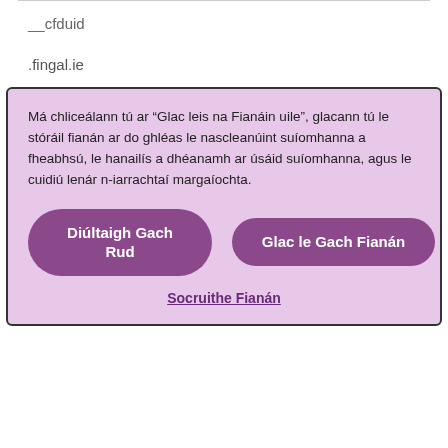__cfduid
.fingal.ie
Má chliceálann tú ar “Glac leis na Fianáin uile”, glacann tú le stóráil fianán ar do ghléas le nascleanúint suíomhanna a fheabhsú, le hanailís a dhéanamh ar úsáid suíomhanna, agus le cuidiú lenár n-iarrachtaí margaíochta.
Diúltaigh Gach Rud
Glac le Gach Fianán
Socruithe Fianán